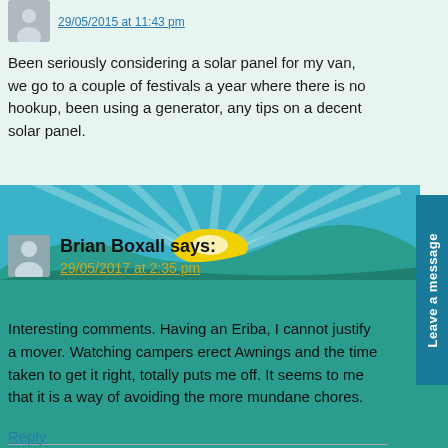[Figure (illustration): Small avatar/person icon, grey silhouette]
[datetime link - partially visible at top]
Been seriously considering a solar panel for my van, we go to a couple of festivals a year where there is no hookup, been using a generator, any tips on a decent solar panel.
Reply
[Figure (illustration): Scenic landscape with sun rays, rolling green hills, and a yellow sun on the horizon]
Brian Boxall says:
29/05/2017 at 2:35 pm
Interesting comments. Having an Eriba, I cannot justify a mover. Watching campers erect Awnings and the time taken to get it right, totally puts me off. It seems to me that it is a way of avoiding the more mundane chores.
Reply
Leave a message